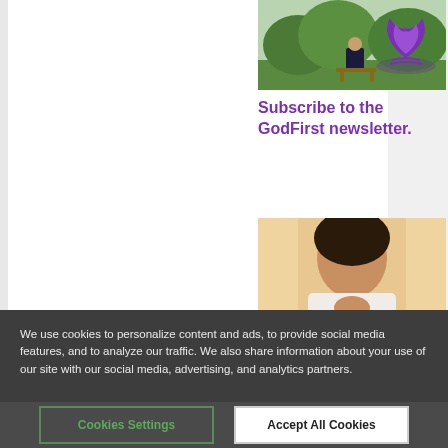[Figure (photo): Photo of a person sitting on a bench outdoors, green park setting]
[Figure (logo): Seventh-day Adventist Church flame/book logo in purple]
Subscribe to the GodFirst newsletter.
[Figure (photo): Stewardship Revival promotional image with woman praying and text 'STEWARDSHIP Revival']
Stewardship Revival Week—God First
We use cookies to personalize content and ads, to provide social media features, and to analyze our traffic. We also share information about your use of our site with our social media, advertising, and analytics partners.
Cookies Settings
Accept All Cookies